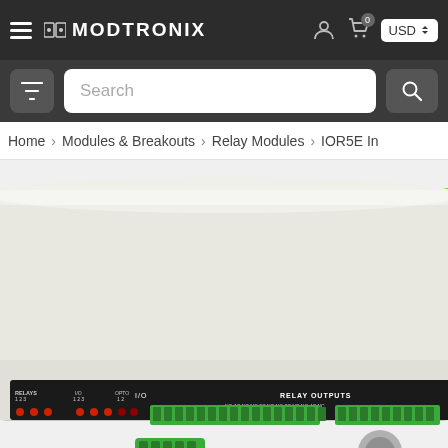MODTRONIX
Search
Home > Modules & Breakouts > Relay Modules > IOR5E In
[Figure (photo): White rectangular electronic module (IOR5E) with green screw terminal connectors along the front edge, showing relay outputs and I/O labels. Two small green terminal blocks and a grey component are shown below the device.]